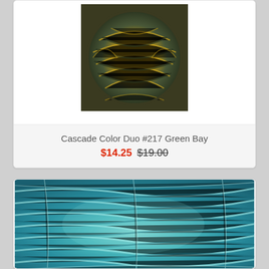[Figure (photo): Skein of yarn in green and yellow mixed colors (Cascade Color Duo #217 Green Bay)]
Cascade Color Duo #217 Green Bay
$14.25 $19.00
[Figure (photo): Close-up of teal/aqua colored yarn skein]